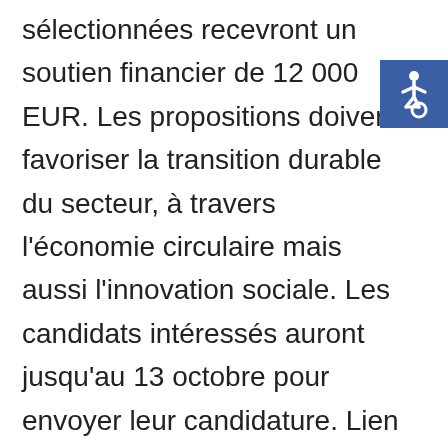sélectionnées recevront un soutien financier de 12 000 EUR. Les propositions doivent favoriser la transition durable du secteur, à travers l'économie circulaire mais aussi l'innovation sociale. Les candidats intéressés auront jusqu'au 13 octobre pour envoyer leur candidature. Lien de registre pour l'infoday: http://registration.nextextilgeneration
[Figure (illustration): Accessibility icon — white wheelchair symbol on blue square background]